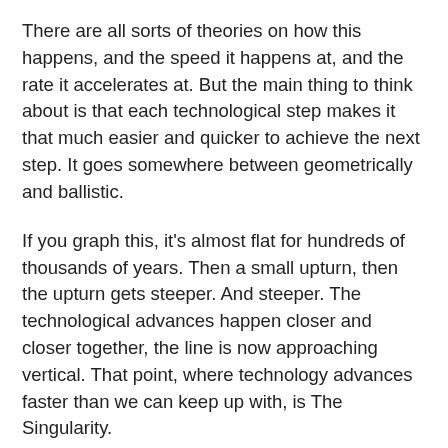There are all sorts of theories on how this happens, and the speed it happens at, and the rate it accelerates at. But the main thing to think about is that each technological step makes it that much easier and quicker to achieve the next step. It goes somewhere between geometrically and ballistic.
If you graph this, it's almost flat for hundreds of thousands of years. Then a small upturn, then the upturn gets steeper. And steeper. The technological advances happen closer and closer together, the line is now approaching vertical. That point, where technology advances faster than we can keep up with, is The Singularity.
Technologies tend to reinforce each other. Increased metallurgy skill helps us design better computers, which help us solve biological riddles like sequencing DNA, which leads to advances in biology that make it possible to build better chips for computers. And round it goes. Since it seems that technology will proceed at a certain pace, but we as humans can only absorb the information at a particular pace, it seems that the next thing that's required is a super intelligence to keep Moore's Law chugging along.